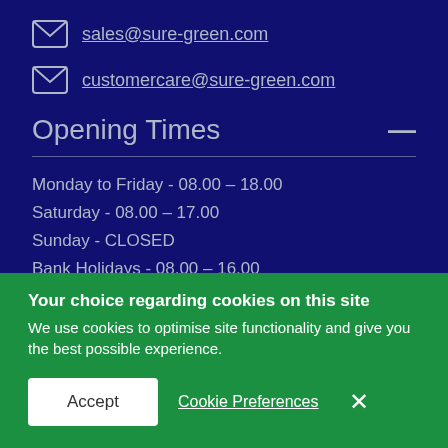sales@sure-green.com
customercare@sure-green.com
Opening Times
Monday to Friday - 08.00 – 18.00
Saturday - 08.00 – 17.00
Sunday - CLOSED
Bank Holidays - 08.00 – 16.00
Useful Links
Your choice regarding cookies on this site
We use cookies to optimise site functionality and give you the best possible experience.
Accept   Cookie Preferences   ×